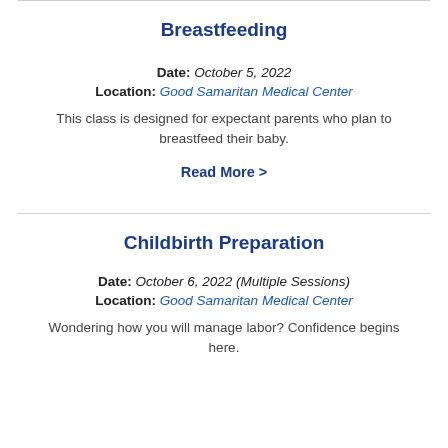Breastfeeding
Date: October 5, 2022
Location: Good Samaritan Medical Center
This class is designed for expectant parents who plan to breastfeed their baby.
Read More >
Childbirth Preparation
Date: October 6, 2022 (Multiple Sessions)
Location: Good Samaritan Medical Center
Wondering how you will manage labor? Confidence begins here.